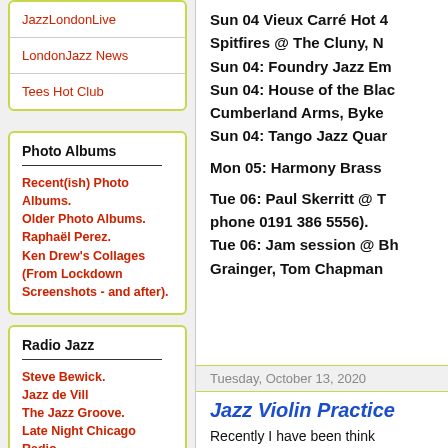JazzLondonLive
LondonJazz News
Tees Hot Club
Photo Albums
Recent(ish) Photo Albums.
Older Photo Albums.
Raphaël Perez.
Ken Drew's Collages (From Lockdown Screenshots - and after).
Radio Jazz
Steve Bewick.
Jazz de Vill
The Jazz Groove.
Late Night Chicago Radio.
WBGO.
JazzFM
Sun 04 Vieux Carré Hot 4
Spitfires @ The Cluny, N
Sun 04: Foundry Jazz Em
Sun 04: House of the Blac
Cumberland Arms, Byke
Sun 04: Tango Jazz Quar
Mon 05: Harmony Brass
Tue 06: Paul Skerritt @ T
phone 0191 386 5556).
Tue 06: Jam session @ Bh
Grainger, Tom Chapman
Tuesday, October 13, 2020
Jazz Violin Practice
Recently I have been think